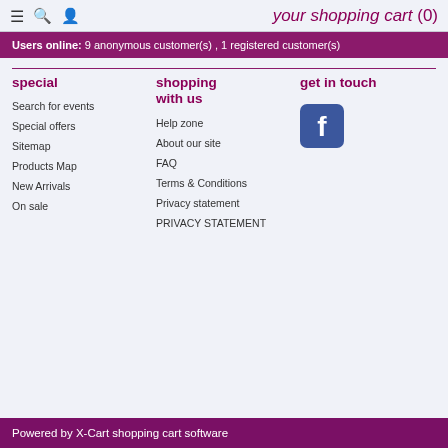your shopping cart (0)
Users online: 9 anonymous customer(s) , 1 registered customer(s)
special
Search for events
Special offers
Sitemap
Products Map
New Arrivals
On sale
shopping with us
Help zone
About our site
FAQ
Terms & Conditions
Privacy statement
PRIVACY STATEMENT
get in touch
[Figure (logo): Facebook logo icon, rounded square blue background with white f]
Powered by X-Cart shopping cart software